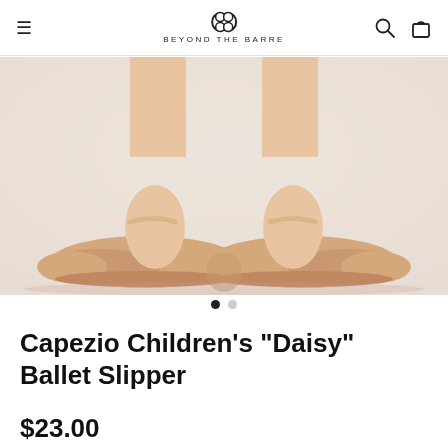Beyond The Barre - navigation bar with logo, search and cart icons
[Figure (photo): Close-up photo of two feet wearing Capezio Daisy ballet slippers in nude/pink leather, viewed from front, split-sole style, against a light background.]
Capezio Children's "Daisy" Ballet Slipper
$23.00